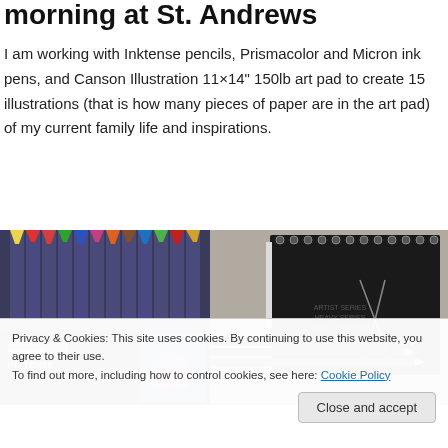morning at St. Andrews
I am working with Inktense pencils, Prismacolor and Micron ink pens, and Canson Illustration 11×14" 150lb art pad to create 15 illustrations (that is how many pieces of paper are in the art pad) of my current family life and inspirations.
[Figure (photo): Photo of Derwent Inktense colored pencils in a tin box, showing purple pencils with colorful tips arranged in a row]
[Figure (photo): Photo of black artist sketchbook with spiral binding and pencils/pens lying next to it on a light surface]
Privacy & Cookies: This site uses cookies. By continuing to use this website, you agree to their use.
To find out more, including how to control cookies, see here: Cookie Policy